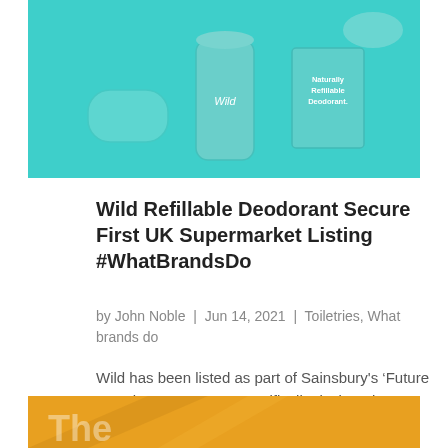[Figure (photo): Product photo of Wild refillable deodorant on a teal/turquoise background, showing the deodorant stick, a refill pod, and a box labeled 'Naturally Refillable Deodorant']
Wild Refillable Deodorant Secure First UK Supermarket Listing #WhatBrandsDo
by John Noble | Jun 14, 2021 | Toiletries, What brands do
Wild has been listed as part of Sainsbury's ‘Future Brands Programme’, specifically designed to promote unique and innovative new companies that specialise in sustainability. As part of the initiative, Wild has been given a prime, top-shelf position in 300 Sainsbury’s…
[Figure (photo): Partial view of another article card with orange/amber background, showing partial text beginning with 'The']